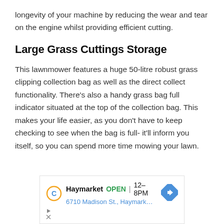longevity of your machine by reducing the wear and tear on the engine whilst providing efficient cutting.
Large Grass Cuttings Storage
This lawnmower features a huge 50-litre robust grass clipping collection bag as well as the direct collect functionality. There's also a handy grass bag full indicator situated at the top of the collection bag. This makes your life easier, as you don't have to keep checking to see when the bag is full- it'll inform you itself, so you can spend more time mowing your lawn.
[Figure (other): Advertisement banner for Haymarket showing OPEN 12-8PM, address 6710 Madison St., Haymark... with a navigation arrow icon and a circular C logo]